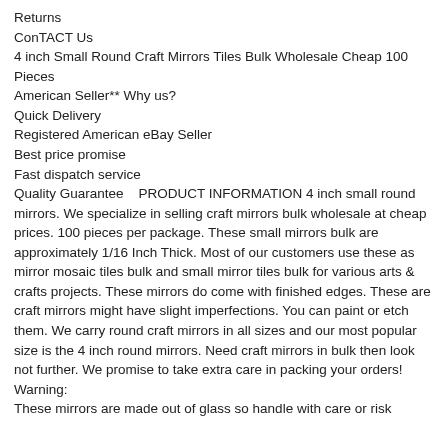Returns
ConTACT Us
4 inch Small Round Craft Mirrors Tiles Bulk Wholesale Cheap 100 Pieces
American Seller** Why us?
Quick Delivery
Registered American eBay Seller
Best price promise
Fast dispatch service
Quality Guarantee   PRODUCT INFORMATION 4 inch small round mirrors. We specialize in selling craft mirrors bulk wholesale at cheap prices. 100 pieces per package. These small mirrors bulk are approximately 1/16 Inch Thick. Most of our customers use these as mirror mosaic tiles bulk and small mirror tiles bulk for various arts & crafts projects. These mirrors do come with finished edges. These are craft mirrors might have slight imperfections. You can paint or etch them. We carry round craft mirrors in all sizes and our most popular size is the 4 inch round mirrors. Need craft mirrors in bulk then look not further. We promise to take extra care in packing your orders! Warning:
These mirrors are made out of glass so handle with care or risk